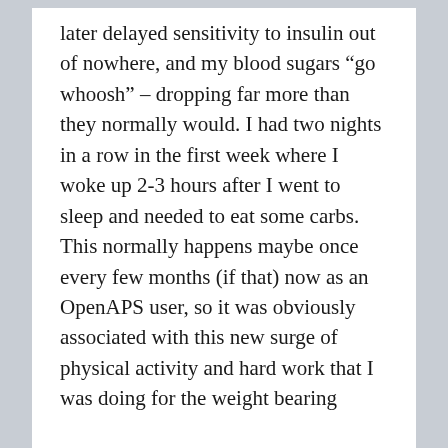later delayed sensitivity to insulin out of nowhere, and my blood sugars “go whoosh” – dropping far more than they normally would. I had two nights in a row in the first week where I woke up 2-3 hours after I went to sleep and needed to eat some carbs. This normally happens maybe once every few months (if that) now as an OpenAPS user, so it was obviously associated with this new surge of physical activity and hard work that I was doing for the weight bearing